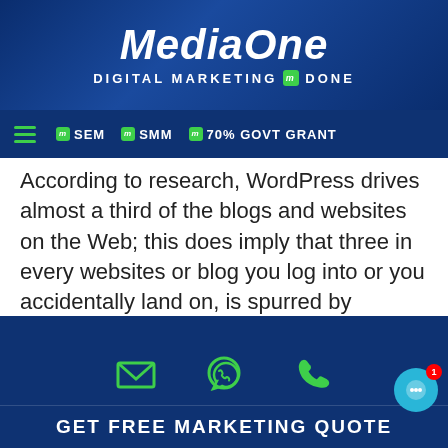MediaOne — DIGITAL MARKETING DONE
[Figure (logo): MediaOne logo with tagline 'DIGITAL MARKETING DONE' on dark blue background]
Navigation bar: SEM, SMM, 70% GOVT GRANT
According to research, WordPress drives almost a third of the blogs and websites on the Web; this does imply that three in every websites or blog you log into or you accidentally land on, is spurred by WordPress. Its accessibility and relatability to the internet audience make it also a prime target for hackers who are preying websites for your traffic. The threat makes it necessary for your WordPress to have a thoroughly reinforced defence system in the form of a security plugin in case of any threats.
Reinforcing your WordPress with security plugin...
GET FREE MARKETING QUOTE